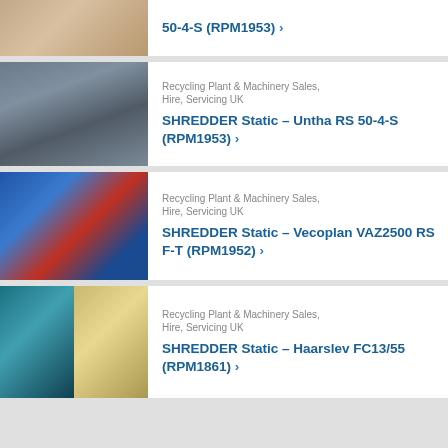[Figure (photo): Partial view of industrial machinery (wooden/metal frame structure) - top of page cutoff]
50-4-S (RPM1953) ›
[Figure (photo): Industrial shredder machine - Untha RS 50-4-S, gray metal construction with motors visible]
Recycling Plant & Machinery Sales, Hire, Servicing UK
SHREDDER Static – Untha RS 50-4-S (RPM1953) ›
[Figure (photo): Blue and red industrial shredder machine - Vecoplan VAZ2500 RS F-T, outdoors]
Recycling Plant & Machinery Sales, Hire, Servicing UK
SHREDDER Static – Vecoplan VAZ2500 RS F-T (RPM1952) ›
[Figure (photo): Two-part image: left shows teal/green industrial blower motor; right shows metal screw/auger components for Haarslev FC13/55 shredder]
Recycling Plant & Machinery Sales, Hire, Servicing UK
SHREDDER Static – Haarslev FC13/55 (RPM1861) ›